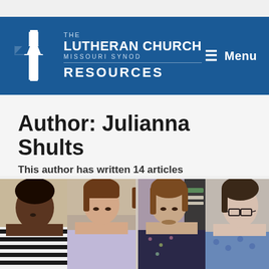THE LUTHERAN CHURCH MISSOURI SYNOD RESOURCES — Menu
Author: Julianna Shults
This author has written 14 articles
[Figure (photo): Four women gathered together in a kitchen setting, looking down at something on a surface. One woman wears a black and white striped shirt, another a light purple top, the third a dark floral top, and the fourth a blue patterned top with glasses.]